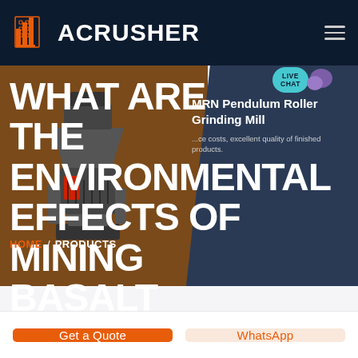ACRUSHER
WHAT ARE THE ENVIRONMENTAL EFFECTS OF MINING BASALT
[Figure (screenshot): Hero banner with industrial crushing machine on brown/orange background with dark blue right panel. Live Chat button visible top right. Product info for MRN Pendulum Roller Grinding Mill shown on right side.]
MRN Pendulum Roller Grinding Mill
...ce costs, excellent quality of finished products.
HOME / PRODUCTS
Get a Quote
WhatsApp